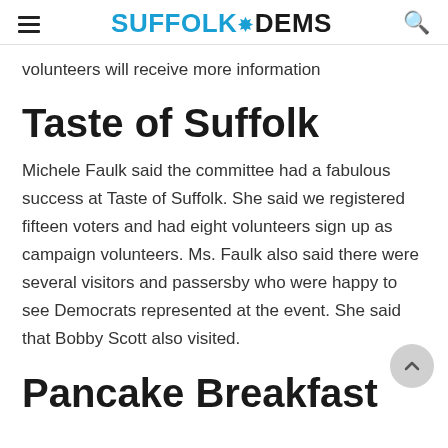SUFFOLKDEMS
volunteers will receive more information
Taste of Suffolk
Michele Faulk said the committee had a fabulous success at Taste of Suffolk. She said we registered fifteen voters and had eight volunteers sign up as campaign volunteers. Ms. Faulk also said there were several visitors and passersby who were happy to see Democrats represented at the event. She said that Bobby Scott also visited.
Pancake Breakfast